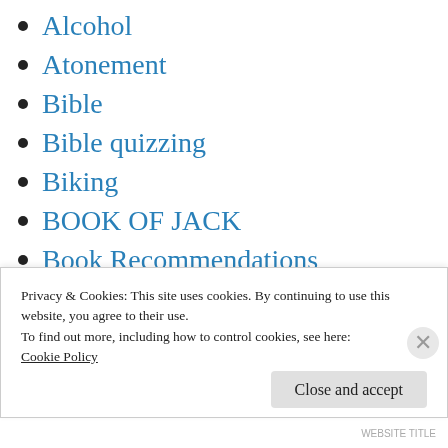Alcohol
Atonement
Bible
Bible quizzing
Biking
BOOK OF JACK
Book Recommendations
Christian Camp
Christian School
Church
Church as Entertainment
Privacy & Cookies: This site uses cookies. By continuing to use this website, you agree to their use.
To find out more, including how to control cookies, see here:
Cookie Policy
Close and accept
WEBSITE TITLE